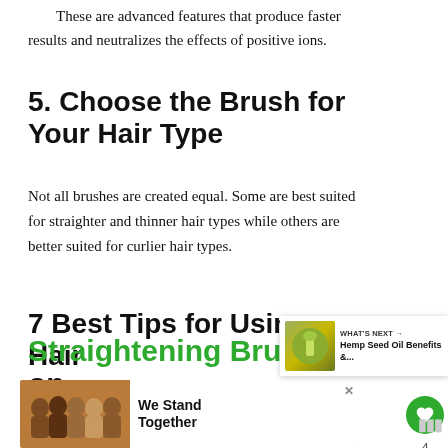These are advanced features that produce faster results and neutralizes the effects of positive ions.
5. Choose the Brush for Your Hair Type
Not all brushes are created equal. Some are best suited for straighter and thinner hair types while others are better suited for curlier hair types.
7 Best Tips for Using Hair Straightening Brushes on
[Figure (screenshot): Ad banner at bottom: group photo of people with text 'We Stand Together' and a close button]
[Figure (screenshot): What's Next overlay showing hemp seed oil article thumbnail with label 'WHAT'S NEXT' and title 'Hemp Seed Oil Benefits &...']
[Figure (other): Social sidebar with green heart button (like), count of 4, and share button]